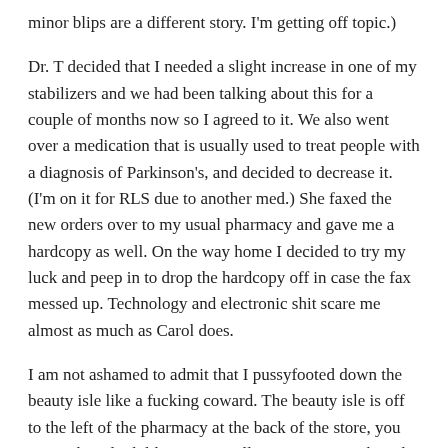minor blips are a different story. I'm getting off topic.)
Dr. T decided that I needed a slight increase in one of my stabilizers and we had been talking about this for a couple of months now so I agreed to it. We also went over a medication that is usually used to treat people with a diagnosis of Parkinson's, and decided to decrease it. (I'm on it for RLS due to another med.) She faxed the new orders over to my usual pharmacy and gave me a hardcopy as well. On the way home I decided to try my luck and peep in to drop the hardcopy off in case the fax messed up. Technology and electronic shit scare me almost as much as Carol does.
I am not ashamed to admit that I pussyfooted down the beauty isle like a fucking coward. The beauty isle is off to the left of the pharmacy at the back of the store, you can make it look like you're mulling over generic brands of acidophilus while you're really checking out everything that happens over the counter at the sanity station. Carol was not there. I pulled out my POS